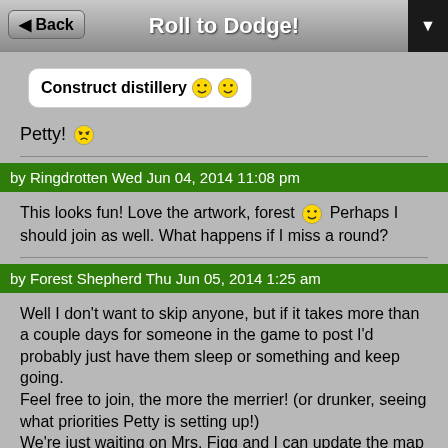Roll to Dodge!
Construct distillery 😊😊
Petty! 😠
by Ringdrotten Wed Jun 04, 2014 11:08 pm
This looks fun! Love the artwork, forest 😊 Perhaps I should join as well. What happens if I miss a round?
by Forest Shepherd Thu Jun 05, 2014 1:25 am
Well I don't want to skip anyone, but if it takes more than a couple days for someone in the game to post I'd probably just have them sleep or something and keep going.
Feel free to join, the more the merrier! (or drunker, seeing what priorities Petty is setting up!)
We're just waiting on Mrs. Figg and I can update the map and finish Round One.
by Pettytyrant101 Thu Jun 05, 2014 11:20 am